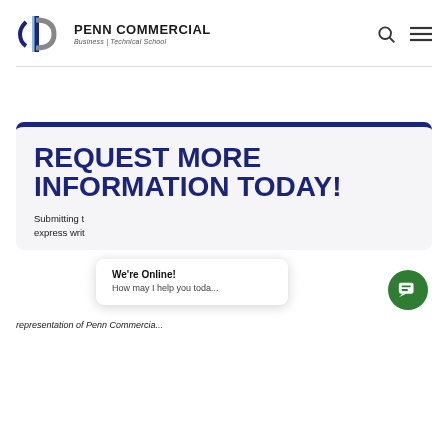[Figure (logo): Penn Commercial Business Technical School logo with stylized P and D letters in blue and gray]
Penn Commercial Business | Technical School
REQUEST MORE INFORMATION TODAY!
Submitting this form constitutes express written consent and representation of Penn Commercial...
[Figure (screenshot): We're Online! chat popup and green chat button overlay]